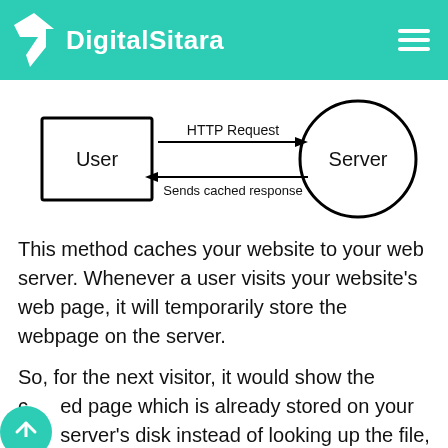DigitalSitara
[Figure (infographic): Diagram showing HTTP Request arrow from User (rectangle) to Server (circle), and Sends cached response arrow from Server back to User.]
This method caches your website to your web server. Whenever a user visits your website's web page, it will temporarily store the webpage on the server.
So, for the next visitor, it would show the cached page which is already stored on your web server's disk instead of looking up the file,